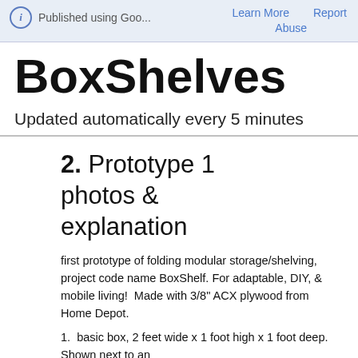ⓘ Published using Goo...   Learn More   Report
Abuse
BoxShelves
Updated automatically every 5 minutes
2. Prototype 1 photos & explanation
first prototype of folding modular storage/shelving, project code name BoxShelf. For adaptable, DIY, & mobile living!  Made with 3/8" ACX plywood from Home Depot.
1.  basic box, 2 feet wide x 1 foot high x 1 foot deep. Shown next to an